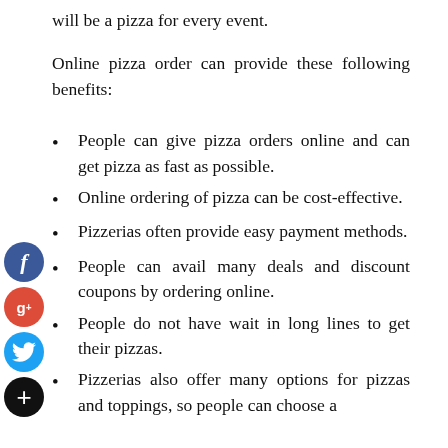will be a pizza for every event.
Online pizza order can provide these following benefits:
People can give pizza orders online and can get pizza as fast as possible.
Online ordering of pizza can be cost-effective.
Pizzerias often provide easy payment methods.
People can avail many deals and discount coupons by ordering online.
People do not have wait in long lines to get their pizzas.
Pizzerias also offer many options for pizzas and toppings, so people can choose a